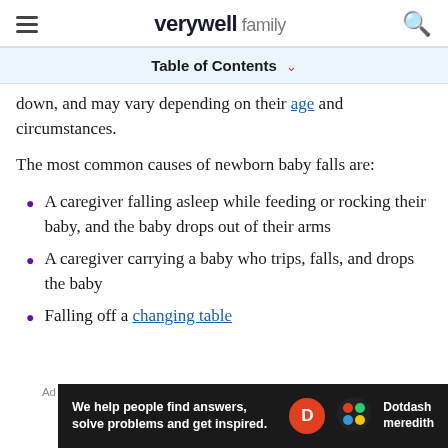verywell family
Table of Contents
down, and may vary depending on their age and circumstances.
The most common causes of newborn baby falls are:
A caregiver falling asleep while feeding or rocking their baby, and the baby drops out of their arms
A caregiver carrying a baby who trips, falls, and drops the baby
Falling off a changing table
[Figure (screenshot): Dotdash Meredith advertisement banner: 'We help people find answers, solve problems and get inspired.']